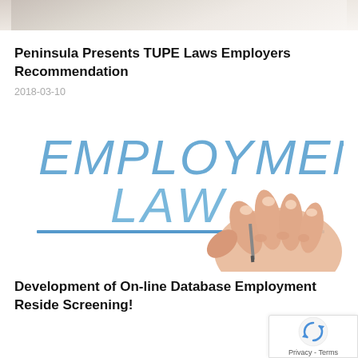[Figure (photo): Top portion of a photograph, partially cropped, showing what appears to be a person in professional attire]
Peninsula Presents TUPE Laws Employers Recommendation
2018-03-10
[Figure (photo): Photo of a hand writing 'EMPLOYMENT LAW' in large blue letters with a blue underline, on a white background]
Development of On-line Database Employment Reside Screening!